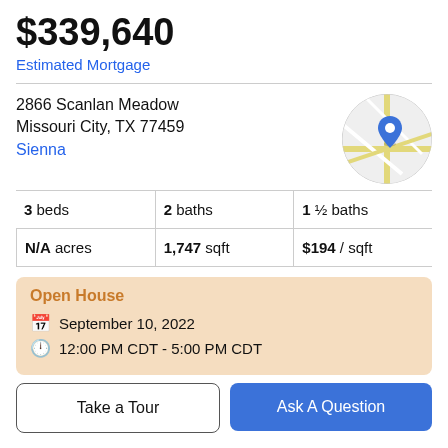$339,640
Estimated Mortgage
2866 Scanlan Meadow
Missouri City, TX 77459
Sienna
[Figure (map): Circular map thumbnail with street layout and a blue location pin marker]
| Column1 | Column2 | Column3 |
| --- | --- | --- |
| 3 beds | 2 baths | 1 ½ baths |
| N/A acres | 1,747 sqft | $194 / sqft |
Open House
September 10, 2022
12:00 PM CDT - 5:00 PM CDT
Take a Tour
Ask A Question